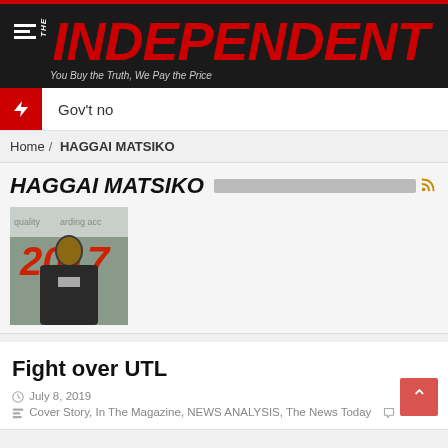[Figure (logo): The Independent newspaper logo - red INDEPENDENT text on dark background with tagline 'You Buy the Truth, We Pay the Price']
Gov't no
Home / HAGGAI MATSIKO
HAGGAI MATSIKO
[Figure (photo): Photo of Haggai Matsiko holding a document/certificate, with '2017' visible in background]
Fight over UTL
July 8, 2019
Cover Story, In The Magazine, NEWS ANALYSIS, The News Today   3